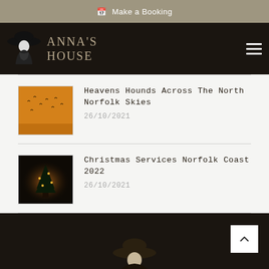📅 Make a Booking
[Figure (logo): Anna's House logo with woman in wide-brim hat silhouette and serif text ANNA'S HOUSE]
Heavens Hounds Across The North Norfolk Skies
26/10/2021
Christmas Services Norfolk Coast 2022
26/10/2021
[Figure (illustration): Dark footer area with partial figure silhouette of woman in hat, back-to-top chevron button]